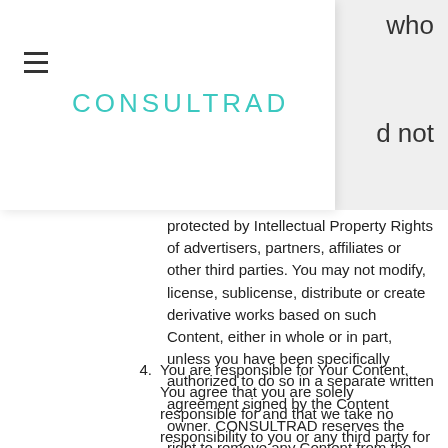CONSULTRAD
protected by Intellectual Property Rights of advertisers, partners, affiliates or other third parties. You may not modify, license, sublicense, distribute or create derivative works based on such Content, either in whole or in part, unless you have been specifically authorized to do so in a separate written agreement signed by the Content owner. CONSULTRAD reserves the right to remove any Content from the Site which it deems objectionable or potentially infringing.
4. You are responsible for Your Content. You agree that you are solely responsible for and that we take no responsibility to you or any third party for any (i) Content that you...